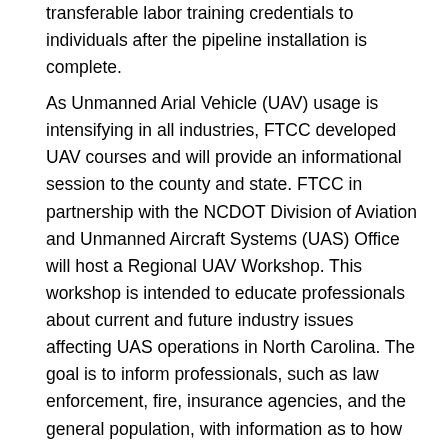transferable labor training credentials to individuals after the pipeline installation is complete.
As Unmanned Arial Vehicle (UAV) usage is intensifying in all industries, FTCC developed UAV courses and will provide an informational session to the county and state. FTCC in partnership with the NCDOT Division of Aviation and Unmanned Aircraft Systems (UAS) Office will host a Regional UAV Workshop. This workshop is intended to educate professionals about current and future industry issues affecting UAS operations in North Carolina. The goal is to inform professionals, such as law enforcement, fire, insurance agencies, and the general population, with information as to how UAVs can enhance the current work environments.